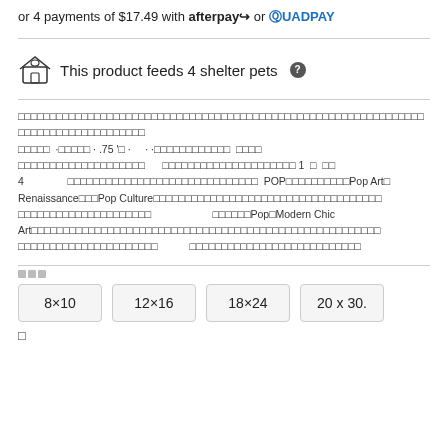or 4 payments of $17.49 with afterpay or QUADPAY
This product feeds 4 shelter pets ?
□□□□□□□□□□□□□□□□□□□□□□□□□□□□□□□□□□□□□□□□□□□□□□□□□□□□□□□□□□□□□□□□□□□□□□□□□□□□□□□□□□□□ □□□□□ ·□□□□□ · .75 '□ · · ·□□□□□□□□□□□□ □□□□ □□□□□□□□□□□□□□□□□□□□ □□□□□□□□□□□□□□□□□□□□□ 1 □ □□ 4 □□□□□□□□□□□□□□□□□□□□□□□□□□□□□□ POP□□□□□□□□□□Pop Art□ Renaissance□□□Pop Culture□□□□□□□□□□□□□□□□□□□□□□□□□□□□□□□□□□□□ □□□□□□□□□□□□□□□□□□□□□ □□□□□□Pop□Modern Chic Art□□□□□□□□□□□□□□□□□□□□□□□□□□□□□□□□□□□□□□□□□□□□□□□□□□□□□□□□□ □□□□□□□□□□□□□□□□□□□□□□ □□□□□□□□□□□□□□□□□□□□□□□□□□□
□□□
8×10   12×16   18×24   20 x 30.
□